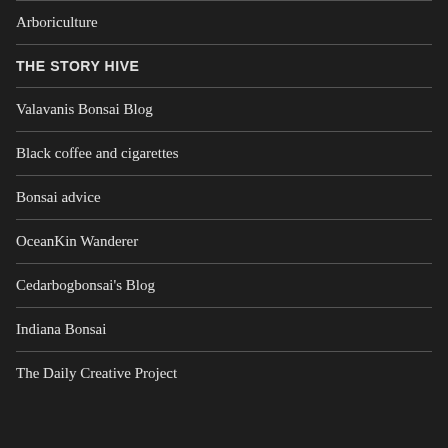Arboriculture
THE STORY HIVE
Valavanis Bonsai Blog
Black coffee and cigarettes
Bonsai advice
OceanKin Wanderer
Cedarbogbonsai's Blog
Indiana Bonsai
The Daily Creative Project